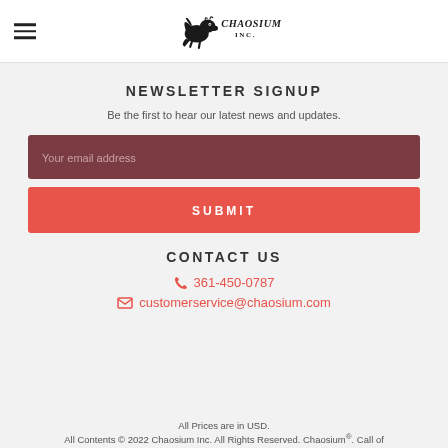Chaosium Inc. logo and hamburger menu
NEWSLETTER SIGNUP
Be the first to hear our latest news and updates.
Your email address
SUBMIT
CONTACT US
361-450-0787
customerservice@chaosium.com
All Prices are in USD. All Contents © 2022 Chaosium Inc. All Rights Reserved. Chaosium®. Call of